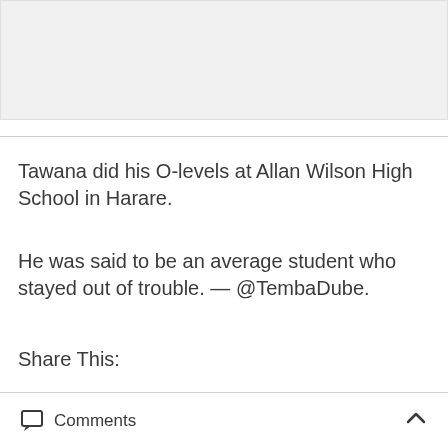[Figure (other): Gray placeholder image area at the top of the page]
Tawana did his O-levels at Allan Wilson High School in Harare.
He was said to be an average student who stayed out of trouble. — @TembaDube.
Share This:
Comments